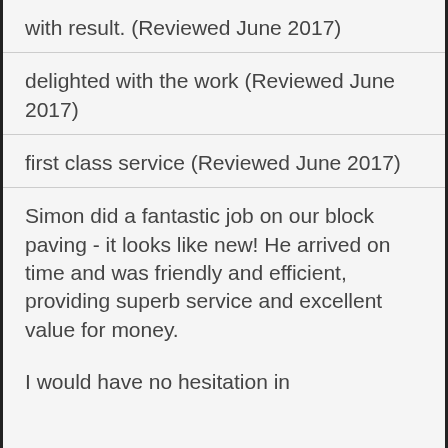with result. (Reviewed June 2017)
delighted with the work (Reviewed June 2017)
first class service (Reviewed June 2017)
Simon did a fantastic job on our block paving - it looks like new! He arrived on time and was friendly and efficient, providing superb service and excellent value for money.
I would have no hesitation in